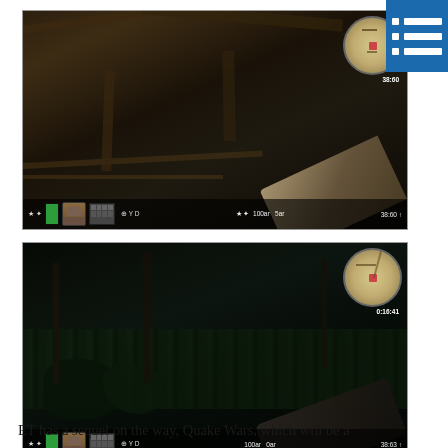[Figure (screenshot): First-person shooter game screenshot showing an indoor wooden building interior with a HUD including minimap in top-right, health bar, ammo grid, player face icon at bottom-left, and timer showing 38:60]
[Figure (screenshot): First-person shooter game screenshot showing an outdoor dark forest/vegetation scene with a HUD including minimap in top-right, health bar, ammo grid, player face icon at bottom-left, and timer showing 38:63]
ET has a sequel on the way, Quake Wars, which will be a